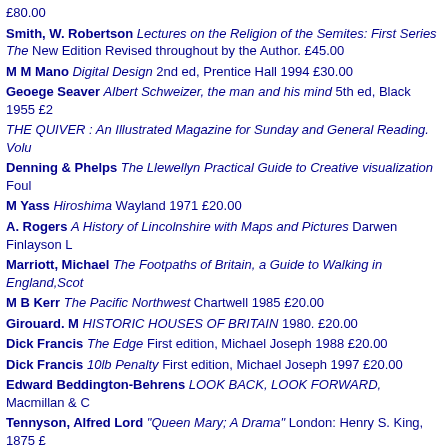£80.00
Smith, W. Robertson Lectures on the Religion of the Semites: First Series The New Edition Revised throughout by the Author. £45.00
M M Mano Digital Design 2nd ed, Prentice Hall 1994 £30.00
Geoege Seaver Albert Schweizer, the man and his mind 5th ed, Black 1955 £2
THE QUIVER : An Illustrated Magazine for Sunday and General Reading. Volu
Denning & Phelps The Llewellyn Practical Guide to Creative visualization Foul
M Yass Hiroshima Wayland 1971 £20.00
A. Rogers A History of Lincolnshire with Maps and Pictures Darwen Finlayson L
Marriott, Michael The Footpaths of Britain, a Guide to Walking in England, Scot
M B Kerr The Pacific Northwest Chartwell 1985 £20.00
Girouard. M HISTORIC HOUSES OF BRITAIN 1980. £20.00
Dick Francis The Edge First edition, Michael Joseph 1988 £20.00
Dick Francis 10lb Penalty First edition, Michael Joseph 1997 £20.00
Edward Beddington-Behrens LOOK BACK, LOOK FORWARD, Macmillan & C
Tennyson, Alfred Lord "Queen Mary; A Drama" London: Henry S. King, 1875 £
Auction Catalogue: Courtlandt F. Bishop The Courtlandt F. Bishop Library . P 1938 £50.00
Freeman, Kenneth J Schools of Hellas - Edited by M. J. Rendall, with a preface 600 to 400 B.C., Macmillan & Co., London, 1912 £60.00
HARTRICK. A.S. LITHOGRAPHY AS A FINE ART. Oxford: Oxford University Pr
David Attenborough The Trials of Life Guild 1990. AS NEW in dw £20.00
Stretton, Hesba Enoch Roden's Training The Religious Tract Society, UK, nd, c
French, Lt.-Colonel the Hon. E.G. Good-Bye to Boot and Saddle or the Tragic